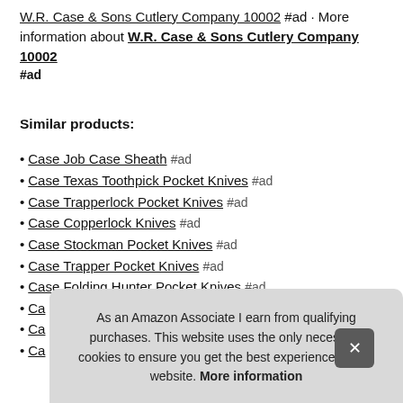W.R. Case & Sons Cutlery Company 10002 #ad · More information about W.R. Case & Sons Cutlery Company 10002
#ad
Similar products:
Case Job Case Sheath #ad
Case Texas Toothpick Pocket Knives #ad
Case Trapperlock Pocket Knives #ad
Case Copperlock Knives #ad
Case Stockman Pocket Knives #ad
Case Trapper Pocket Knives #ad
Case Folding Hunter Pocket Knives #ad
Ca…
Ca…
Ca…
As an Amazon Associate I earn from qualifying purchases. This website uses the only necessary cookies to ensure you get the best experience on our website. More information